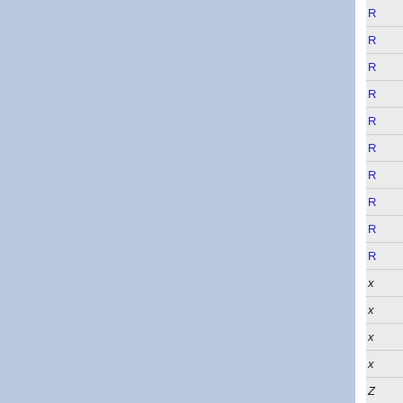[Figure (other): A cropped view of a table or index with a light blue background divided into columns by a white vertical divider. The rightmost visible column shows rows with blue uppercase letters starting with R (rows 1-10), followed by italic black X entries (rows 11-14), and a Z entry (row 15). The content appears to be a legend or index list partially cut off on the right edge.]